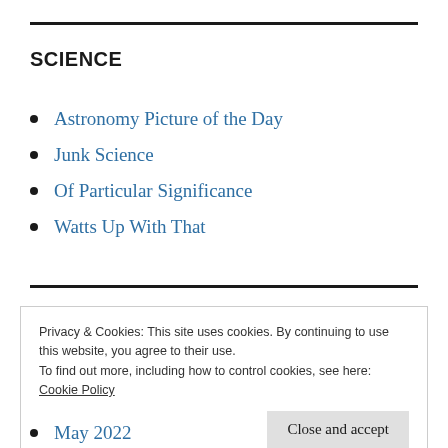SCIENCE
Astronomy Picture of the Day
Junk Science
Of Particular Significance
Watts Up With That
Privacy & Cookies: This site uses cookies. By continuing to use this website, you agree to their use.
To find out more, including how to control cookies, see here:
Cookie Policy
Close and accept
May 2022